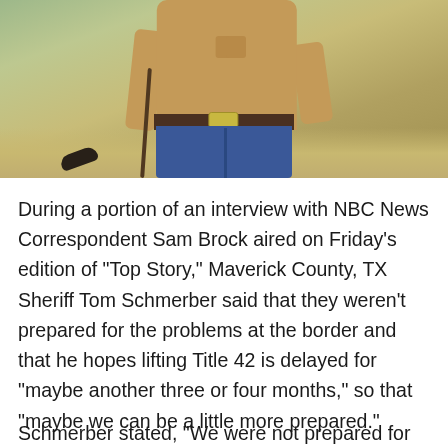[Figure (photo): A man in a tan/khaki button-up shirt and blue jeans with a large belt buckle, standing on sandy ground, photographed from torso down. Shoes visible on the ground nearby.]
During a portion of an interview with NBC News Correspondent Sam Brock aired on Friday's edition of “Top Story,” Maverick County, TX Sheriff Tom Schmerber said that they weren’t prepared for the problems at the border and that he hopes lifting Title 42 is delayed for “maybe another three or four months,” so that “maybe we can be a little more prepared.”
Schmerber stated, “We were not prepared for the